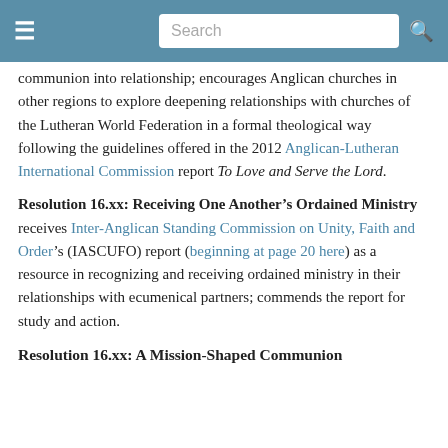Search
communion into relationship; encourages Anglican churches in other regions to explore deepening relationships with churches of the Lutheran World Federation in a formal theological way following the guidelines offered in the 2012 Anglican-Lutheran International Commission report To Love and Serve the Lord.
Resolution 16.xx: Receiving One Another’s Ordained Ministry receives Inter-Anglican Standing Commission on Unity, Faith and Order’s (IASCUFO) report (beginning at page 20 here) as a resource in recognizing and receiving ordained ministry in their relationships with ecumenical partners; commends the report for study and action.
Resolution 16.xx: A Mission-Shaped Communion